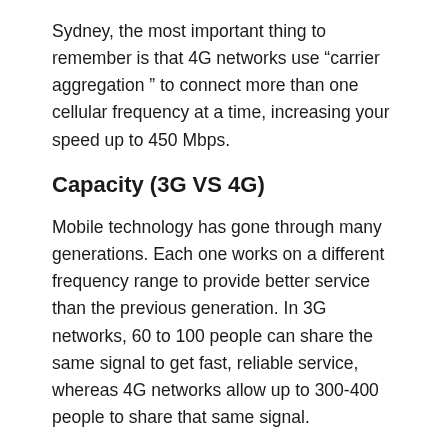Sydney, the most important thing to remember is that 4G networks use “carrier aggregation ” to connect more than one cellular frequency at a time, increasing your speed up to 450 Mbps.
Capacity (3G VS 4G)
Mobile technology has gone through many generations. Each one works on a different frequency range to provide better service than the previous generation. In 3G networks, 60 to 100 people can share the same signal to get fast, reliable service, whereas 4G networks allow up to 300-400 people to share that same signal.
The frequency range of third-generation mobile technology is from 1.8 GHz to 2.5 GHz, and that of fourth-generation is from 2 GHz to 8 GHz. As the newer generations are allocated more frequencies, they can